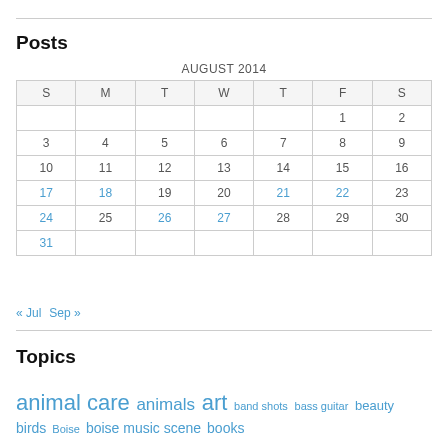Posts
| S | M | T | W | T | F | S |
| --- | --- | --- | --- | --- | --- | --- |
|  |  |  |  |  | 1 | 2 |
| 3 | 4 | 5 | 6 | 7 | 8 | 9 |
| 10 | 11 | 12 | 13 | 14 | 15 | 16 |
| 17 | 18 | 19 | 20 | 21 | 22 | 23 |
| 24 | 25 | 26 | 27 | 28 | 29 | 30 |
| 31 |  |  |  |  |  |  |
« Jul   Sep »
Topics
animal care  animals  art  band shots  bass guitar  beauty  birds  Boise  boise music scene  books